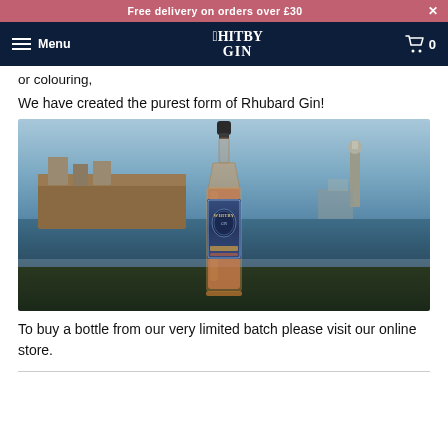Free delivery on orders over £30
Whitby Gin — Menu / Cart 0
or colouring,
We have created the purest form of Rhubard Gin!
[Figure (photo): A bottle of Whitby Gin (Rhubarb edition) photographed outdoors against a harbour backdrop, with water, stone walls, and a lighthouse visible in the background. The bottle has a dark cap and amber/rose-coloured liquid inside with the Whitby Gin label.]
To buy a bottle from our very limited batch please visit our online store.